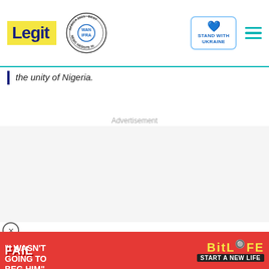Legit - WAN-IFRA 2021 Best News Website in Africa - Stand with Ukraine
the unity of Nigeria.
Advertisement
[Figure (screenshot): Video thumbnail showing two people with text overlay: "I WASN'T GOING TO BEG HIM" with a play button]
[Figure (screenshot): Bottom advertisement banner for BitLife game - START A NEW LIFE]